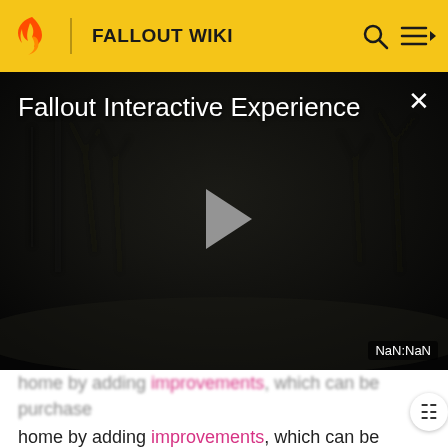FALLOUT WIKI
[Figure (screenshot): Fallout Interactive Experience video player with dark misty environment background, play button in center, close button (×) top right, timestamp showing NaN:NaN bottom right]
home by adding improvements, which can be purchased from Moira at Craterside Supply.
Improvements include an infirmary, jukebox, laboratory, Nuka-Cola vending machine and a workbench. All of